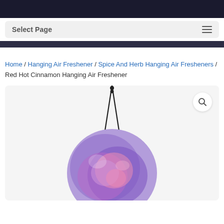Select Page
Home / Hanging Air Freshener / Spice And Herb Hanging Air Fresheners / Red Hot Cinnamon Hanging Air Freshener
[Figure (photo): A round hanging air freshener with a purple/pink tie-dye style design and black hanging cord, shown against a light background, with a search magnifying glass icon in the top right corner of the image container.]